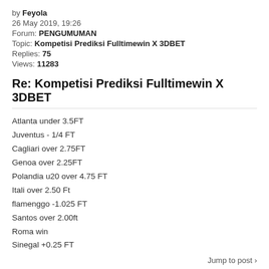by Feyola
26 May 2019, 19:26
Forum: PENGUMUMAN
Topic: Kompetisi Prediksi Fulltimewin X 3DBET
Replies: 75
Views: 11283
Re: Kompetisi Prediksi Fulltimewin X 3DBET
Atlanta under 3.5FT
Juventus - 1/4 FT
Cagliari over 2.75FT
Genoa over 2.25FT
Polandia u20 over 4.75 FT
Itali over 2.50 Ft
flamenggo -1.025 FT
Santos over 2.00ft
Roma win
Sinegal +0.25 FT
Jump to post ›
by Feyola